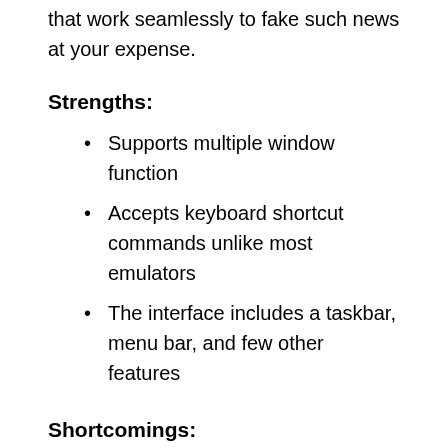that work seamlessly to fake such news at your expense.
Strengths:
Supports multiple window function
Accepts keyboard shortcut commands unlike most emulators
The interface includes a taskbar, menu bar, and few other features
Shortcomings:
Unavailable in the market
Too simple